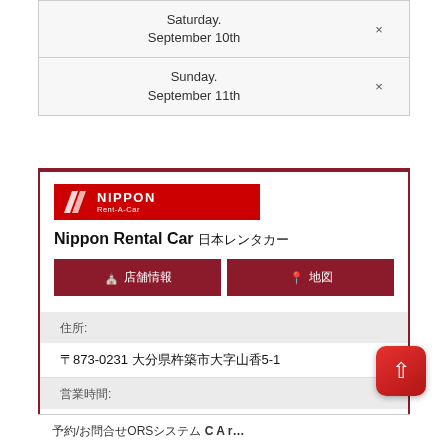| Day | Status |
| --- | --- |
| Saturday.
September 10th | × |
| Sunday.
September 11th | × |
[Figure (logo): Nippon Rent-A-Car logo — red background with white slashes and NIPPON text]
Nippon Rental Car 日本レンタカー
🏪 店舗情報
📍 地図
住所:
〒873-0231 大分県杵築市大字山香5-1
営業時間:
08:00～21:00
予約/お問合せORSシステム C A r...